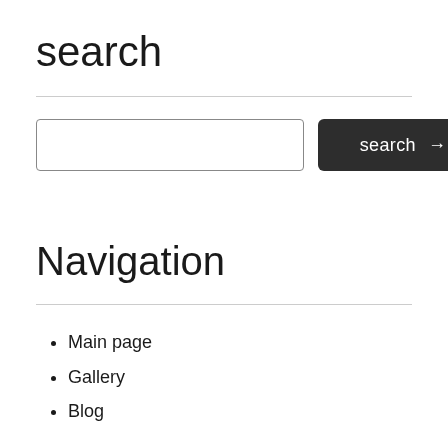search
Main page
Gallery
Blog
Navigation